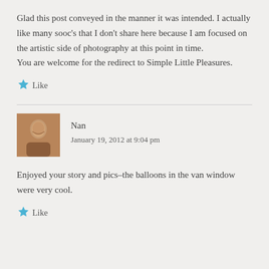Glad this post conveyed in the manner it was intended. I actually like many sooc's that I don't share here because I am focused on the artistic side of photography at this point in time.
You are welcome for the redirect to Simple Little Pleasures.
★ Like
Nan
January 19, 2012 at 9:04 pm
Enjoyed your story and pics–the balloons in the van window were very cool.
★ Like